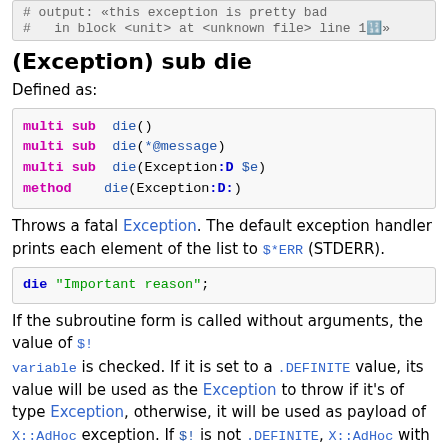# output: «this exception is pretty bad
#   in block <unit> at <unknown file> line 1🔢»
(Exception) sub die
Defined as:
multi sub die()
multi sub die(*@message)
multi sub die(Exception:D $e)
method    die(Exception:D:)
Throws a fatal Exception. The default exception handler prints each element of the list to $*ERR (STDERR).
die "Important reason";
If the subroutine form is called without arguments, the value of $! variable is checked. If it is set to a .DEFINITE value, its value will be used as the Exception to throw if it's of type Exception, otherwise, it will be used as payload of X::AdHoc exception. If $! is not .DEFINITE, X::AdHoc with string "Died" as payload will be thrown.
die will print by default the line number where it happens
die "Dead";